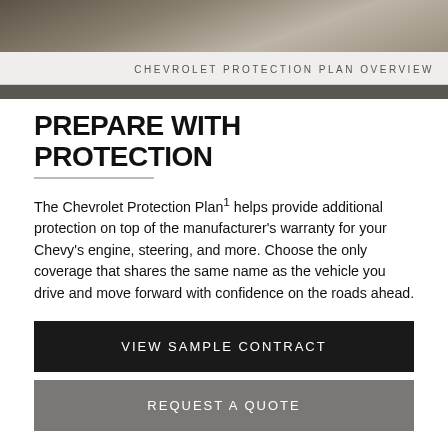[Figure (photo): Partial view of a car on a road, cropped at top of page]
CHEVROLET PROTECTION PLAN OVERVIEW
PREPARE WITH PROTECTION
The Chevrolet Protection Plan¹ helps provide additional protection on top of the manufacturer's warranty for your Chevy's engine, steering, and more. Choose the only coverage that shares the same name as the vehicle you drive and move forward with confidence on the roads ahead.
VIEW SAMPLE CONTRACT
REQUEST A QUOTE
LOOKING AT THE NUMBERS